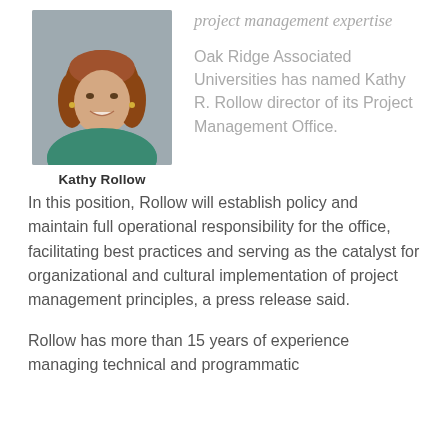[Figure (photo): Headshot portrait photo of Kathy Rollow, a woman with auburn wavy hair, smiling, wearing a teal top, against a gray background.]
Kathy Rollow
project management expertise
Oak Ridge Associated Universities has named Kathy R. Rollow director of its Project Management Office. In this position, Rollow will establish policy and maintain full operational responsibility for the office, facilitating best practices and serving as the catalyst for organizational and cultural implementation of project management principles, a press release said.
Rollow has more than 15 years of experience managing technical and programmatic